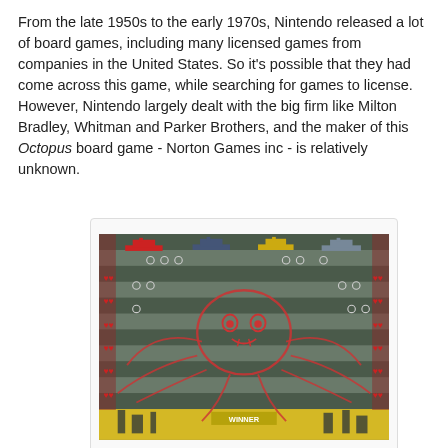From the late 1950s to the early 1970s, Nintendo released a lot of board games, including many licensed games from companies in the United States. So it's possible that they had come across this game, while searching for games to license. However, Nintendo largely dealt with the big firm like Milton Bradley, Whitman and Parker Brothers, and the maker of this Octopus board game - Norton Games inc - is relatively unknown.
[Figure (photo): Photo of the Octopus board game board showing a large illustrated octopus in the center with tentacles spread across a nautical-themed game board. Red and yellow ships appear at the top. Red symbols appear along the sides. The bottom shows a city scene in yellow.]
Octopus board game